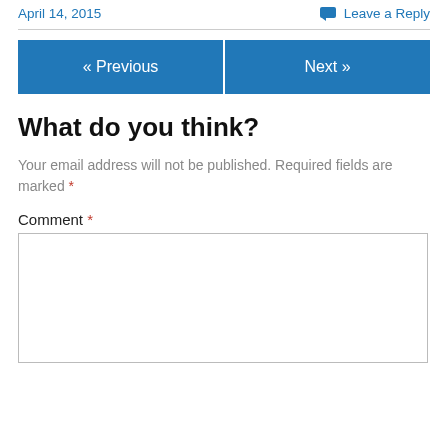April 14, 2015
Leave a Reply
« Previous
Next »
What do you think?
Your email address will not be published. Required fields are marked *
Comment *